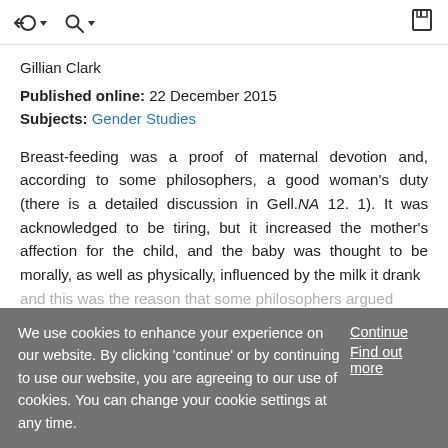navigation icons: back, search, save
Gillian Clark
Published online: 22 December 2015
Subjects: Gender Studies
Breast-feeding was a proof of maternal devotion and, according to some philosophers, a good woman's duty (there is a detailed discussion in Gell.NA 12. 1). It was acknowledged to be tiring, but it increased the mother's affection for the child, and the baby was thought to be morally, as well as physically, influenced by the milk it drank
We use cookies to enhance your experience on our website. By clicking 'continue' or by continuing to use our website, you are agreeing to our use of cookies. You can change your cookie settings at any time.
Continue
Find out more